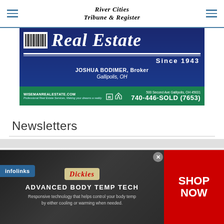River Cities Tribune & Register
[Figure (advertisement): Wiseman Real Estate advertisement. Heading: Real Estate Since 1943. JOSHUA BODIMER, Broker, Gallipolis, OH. Website: WISEMANREALESTATE.COM. Address: 500 Second Ave Gallipolis, OH 45631. Phone: 740-446-SOLD (7653).]
Newsletters
This website uses cookies to enhance user experience and to analyze performance and traffic on our website.
[Figure (advertisement): Dickies banner ad. ADVANCED BODY TEMP TECH. Responsive technology that helps control your body temp by either cooling or warming when needed. SHOP NOW.]